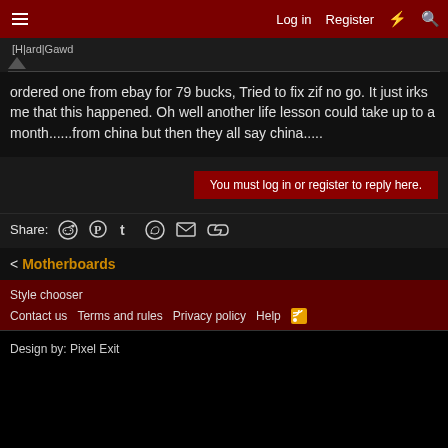Log in  Register
[H|ard|Gawd
ordered one from ebay for 79 bucks, Tried to fix zif no go. It just irks me that this happened. Oh well another life lesson could take up to a month......from china but then they all say china.....
You must log in or register to reply here.
Share:
< Motherboards
Style chooser
Contact us  Terms and rules  Privacy policy  Help
Design by: Pixel Exit